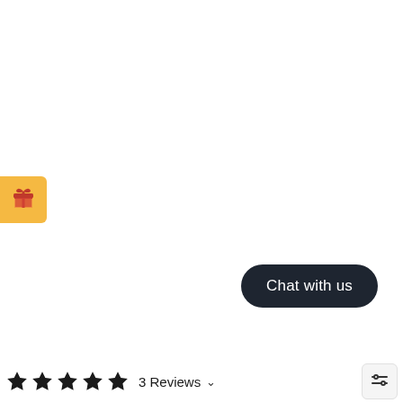[Figure (illustration): Orange/yellow gift icon button on the left edge of the page, showing a red gift box with bow]
[Figure (illustration): Dark rounded 'Chat with us' button in the bottom right area]
[Figure (illustration): 5 black star icons representing a rating]
3 Reviews
[Figure (illustration): Filter/sliders icon button in bottom right corner]